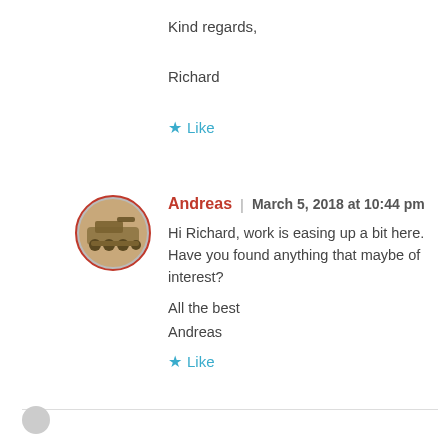Kind regards,
Richard
★ Like
[Figure (photo): Circular avatar photo of a military vehicle (tank/artillery), framed with a red double-circle border.]
Andreas | March 5, 2018 at 10:44 pm
Hi Richard, work is easing up a bit here. Have you found anything that maybe of interest?
All the best
Andreas
★ Like